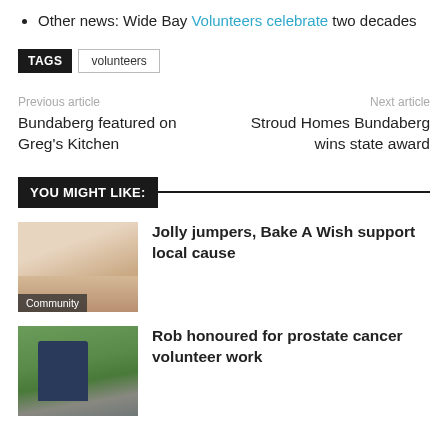Other news: Wide Bay Volunteers celebrate two decades
TAGS  volunteers
Previous article
Bundaberg featured on Greg's Kitchen
Next article
Stroud Homes Bundaberg wins state award
YOU MIGHT LIKE:
[Figure (photo): Cupcakes with pink frosting and colorful toppings, with Community badge]
Jolly jumpers, Bake A Wish support local cause
[Figure (photo): Outdoor photo of a man in a dark shirt standing in a park]
Rob honoured for prostate cancer volunteer work